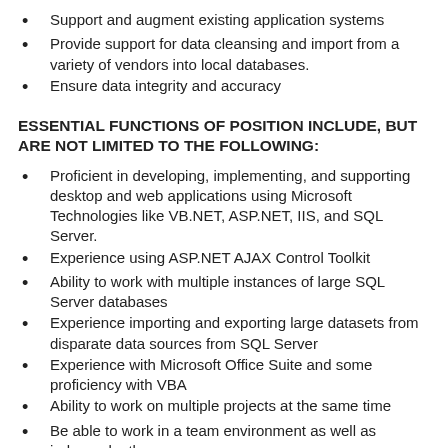Support and augment existing application systems
Provide support for data cleansing and import from a variety of vendors into local databases.
Ensure data integrity and accuracy
ESSENTIAL FUNCTIONS OF POSITION INCLUDE, BUT ARE NOT LIMITED TO THE FOLLOWING:
Proficient in developing, implementing, and supporting desktop and web applications using Microsoft Technologies like VB.NET, ASP.NET, IIS, and SQL Server.
Experience using ASP.NET AJAX Control Toolkit
Ability to work with multiple instances of large SQL Server databases
Experience importing and exporting large datasets from disparate data sources from SQL Server
Experience with Microsoft Office Suite and some proficiency with VBA
Ability to work on multiple projects at the same time
Be able to work in a team environment as well as independently
PREFERRED QUALIFICATIONS
Excellent interpersonal skills with the ability to